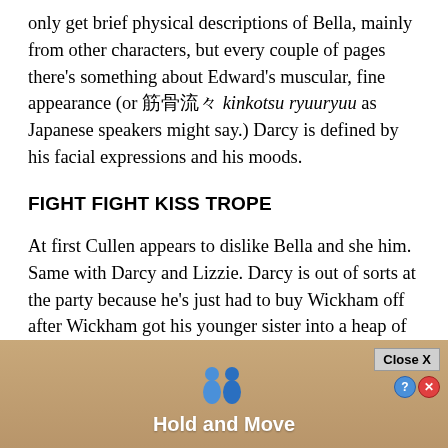only get brief physical descriptions of Bella, mainly from other characters, but every couple of pages there's something about Edward's muscular, fine appearance (or 筋骨流々 kinkotsu ryuuryuu as Japanese speakers might say.) Darcy is defined by his facial expressions and his moods.
FIGHT FIGHT KISS TROPE
At first Cullen appears to dislike Bella and she him. Same with Darcy and Lizzie. Darcy is out of sorts at the party because he's just had to buy Wickham off after Wickham got his younger sister into a heap of trouble, and his rudeness towards Lizzie is displaced. Edward Cullen appears to be distan... ...d is
[Figure (screenshot): Advertisement overlay with 'Hold and Move' label, figure icons of people, Close X button, and help/close buttons]